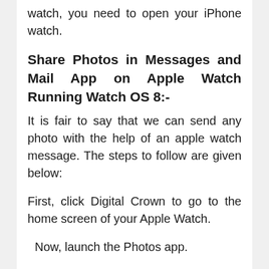watch, you need to open your iPhone watch.
Share Photos in Messages and Mail App on Apple Watch Running Watch OS 8:-
It is fair to say that we can send any photo with the help of an apple watch message. The steps to follow are given below:
First, click Digital Crown to go to the home screen of your Apple Watch.
Now, launch the Photos app.
Next, choose the image you want to share